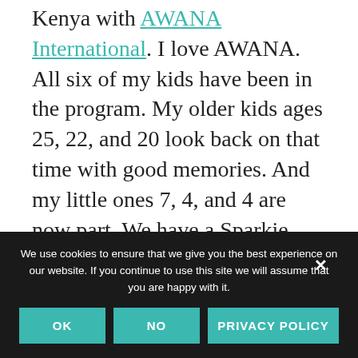Kenya with AWANA International. I love AWANA. All six of my kids have been in the program. My older kids ages 25, 22, and 20 look back on that time with good memories. And my little ones 7, 4, and 4 are now part. We have a Sparkie and two Cubbies in the house.
I love the Scripture memory and Biblical foundation AWANA lays in children's hearts, and until I was...
We use cookies to ensure that we give you the best experience on our website. If you continue to use this site we will assume that you are happy with it.
OK   NO   PRIVACY POLICY